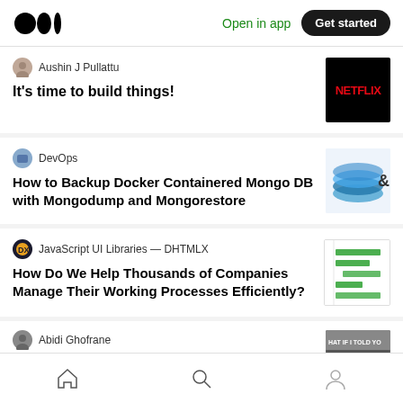Medium app header with logo, Open in app, Get started
Aushin J Pullattu — It's time to build things!
DevOps — How to Backup Docker Containered Mongo DB with Mongodump and Mongorestore
JavaScript UI Libraries — DHTMLX — How Do We Help Thousands of Companies Manage Their Working Processes Efficiently?
Abidi Ghofrane
Bottom navigation: Home, Search, Profile